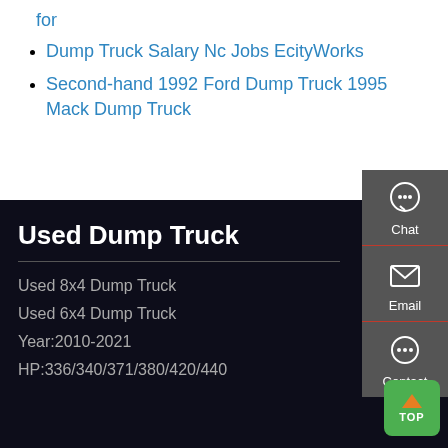for
Dump Truck Salary Nc Jobs EcityWorks
Second-hand 1992 Ford Dump Truck 1995 Mack Dump Truck
[Figure (infographic): Sidebar with Chat, Email, and Contact icons on dark grey background]
Used Dump Truck
Used 8x4 Dump Truck
Used 6x4 Dump Truck
Year:2010-2021
HP:336/340/371/380/420/440